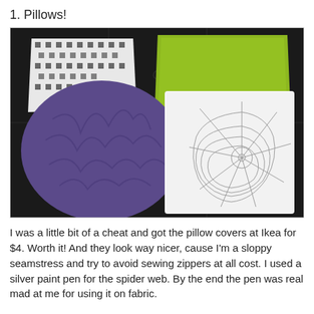1. Pillows!
[Figure (photo): Three decorative pillows arranged on a dark leather couch: a blue/purple crinkled pillow on the left, a lime green pillow in the back center, a black and white patterned pillow behind left, and a white pillow with a hand-drawn spider web design in the center-right foreground.]
I was a little bit of a cheat and got the pillow covers at Ikea for $4. Worth it! And they look way nicer, cause I'm a sloppy seamstress and try to avoid sewing zippers at all cost. I used a silver paint pen for the spider web. By the end the pen was real mad at me for using it on fabric.